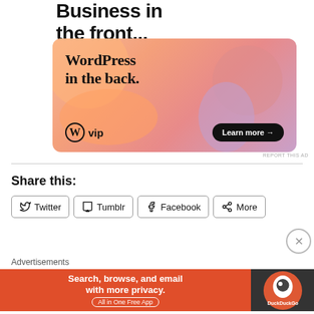[Figure (illustration): WordPress VIP advertisement banner with colorful gradient blobs (orange, pink, purple). Text reads 'Business in the front... WordPress in the back.' with WordPress VIP logo and 'Learn more' button.]
REPORT THIS AD
Share this:
Twitter
Tumblr
Facebook
More
Like
Advertisements
[Figure (illustration): DuckDuckGo advertisement. Orange background with text 'Search, browse, and email with more privacy. All in One Free App' and DuckDuckGo logo on dark right panel.]